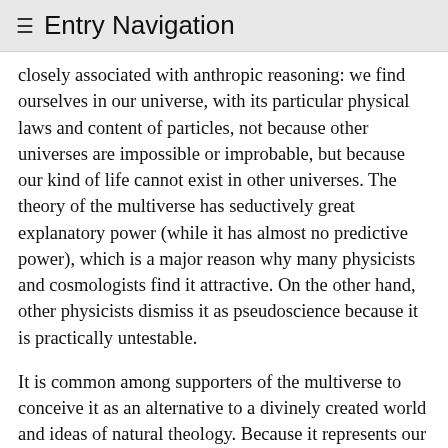≡ Entry Navigation
closely associated with anthropic reasoning: we find ourselves in our universe, with its particular physical laws and content of particles, not because other universes are impossible or improbable, but because our kind of life cannot exist in other universes. The theory of the multiverse has seductively great explanatory power (while it has almost no predictive power), which is a major reason why many physicists and cosmologists find it attractive. On the other hand, other physicists dismiss it as pseudoscience because it is practically untestable.
It is common among supporters of the multiverse to conceive it as an alternative to a divinely created world and ideas of natural theology. Because it represents our universe as a chance universe, special only by the fact that we live in it, the multiverse has been likened to another and more famous anti-design theory, neo-Darwinianism. Weinberg puts it as follows: “Just as Darwin and Wallace explained how the wonderful adaption of living forms could arise without supernatural intervention, so the string landscape may explain how the constants of nature that